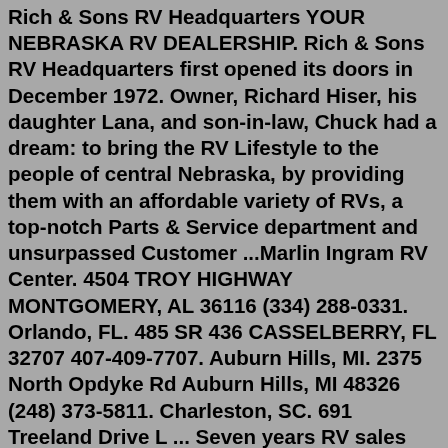Rich & Sons RV Headquarters YOUR NEBRASKA RV DEALERSHIP. Rich & Sons RV Headquarters first opened its doors in December 1972. Owner, Richard Hiser, his daughter Lana, and son-in-law, Chuck had a dream: to bring the RV Lifestyle to the people of central Nebraska, by providing them with an affordable variety of RVs, a top-notch Parts & Service department and unsurpassed Customer ...Marlin Ingram RV Center. 4504 TROY HIGHWAY MONTGOMERY, AL 36116 (334) 288-0331. Orlando, FL. 485 SR 436 CASSELBERRY, FL 32707 407-409-7707. Auburn Hills, MI. 2375 North Opdyke Rd Auburn Hills, MI 48326 (248) 373-5811. Charleston, SC. 691 Treeland Drive L ... Seven years RV sales experience with 2 years in RV service. 2015-2019 Certified Newmar Product Professional. Brian has extensive knowledge of both the RV and chassis specifications and operations of Newmar Motor homes. He works diligently with each customer to ensure their wants and needs are attained, both before and after the sale. He has ... A-1 Self Storage -